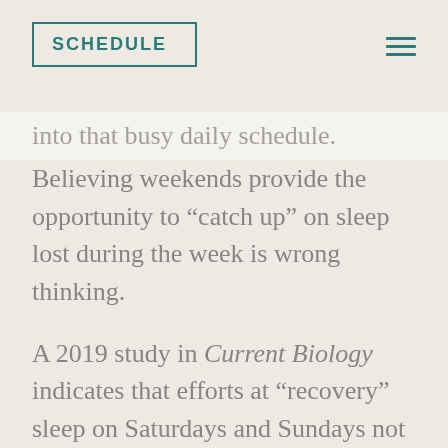SCHEDULE
into that busy daily schedule. Believing weekends provide the opportunity to “catch up” on sleep lost during the week is wrong thinking.
A 2019 study in Current Biology indicates that efforts at “recovery” sleep on Saturdays and Sundays not only fails to reverse some of the negative metabolic changes occurring during sleep-deprived